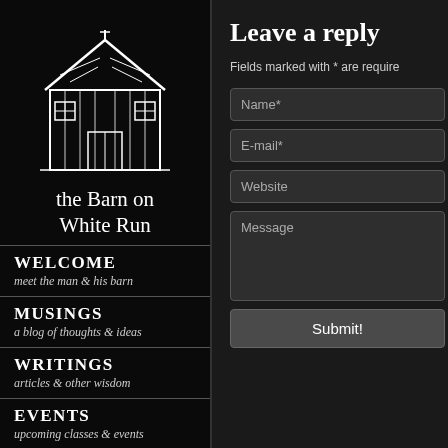[Figure (illustration): White line drawing of a barn building on black background]
the Barn on White Run
WELCOME
meet the man & his barn
MUSINGS
a blog of thoughts & ideas
WRITINGS
articles & other wisdom
EVENTS
upcoming classes & events
SHOP
DVDs, tools & finishing supplies
Leave a reply
Fields marked with * are required
Name*
E-mail*
Website
Message
Submit!